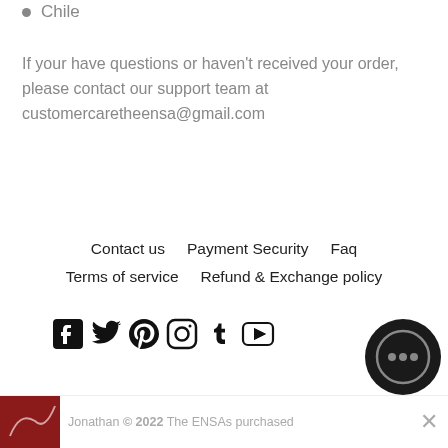Chile
If your have questions or haven't received your order, please contact our support team at customercaretheensa@gmail.com
Contact us   Payment Security   Faq   Terms of service   Refund & Exchange policy
[Figure (infographic): Row of social media icons: Facebook, Twitter, Pinterest, Instagram, Tumblr, YouTube]
[Figure (infographic): Dark circular chat/messaging bubble icon]
Jonathan © 2022 The ENSAs purchased